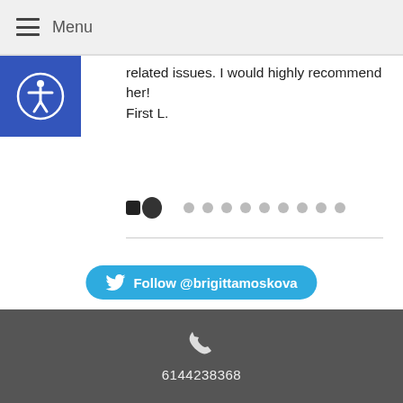Menu
related issues. I would highly recommend her! First L.
[Figure (other): Carousel pagination dots — two filled black dots followed by eight gray dots]
[Figure (other): Twitter Follow button: Follow @brigittamoskova]
[Figure (other): LinkedIn link: Brigitta Moskova]
[Figure (other): HealthWellNews Summer banner image]
6144238368